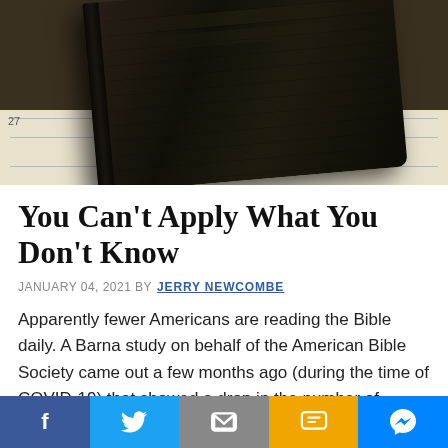[Figure (photo): Photo of an old black Bible resting on a calendar with grid lines visible underneath]
You Can't Apply What You Don't Know
JANUARY 04, 2021 BY JERRY NEWCOMBE
Apparently fewer Americans are reading the Bible daily. A Barna study on behalf of the American Bible Society came out a few months ago (during the time of COVID-19) that showed a drop in the number of Americans who claim to read the Bible every day—